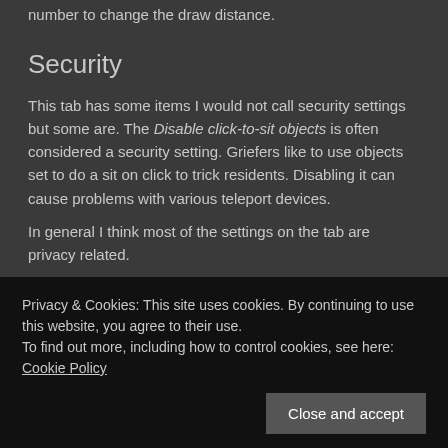number to change the draw distance.
Security
This tab has some items I would not call security settings but some are. The Disable click-to-sit objects is often considered a security setting. Griefers like to use objects set to do a sit on click to trick residents. Disabling it can cause problems with various teleport devices.
In general I think most of the settings on the tab are privacy related.
Building
Privacy & Cookies: This site uses cookies. By continuing to use this website, you agree to their use.
To find out more, including how to control cookies, see here: Cookie Policy